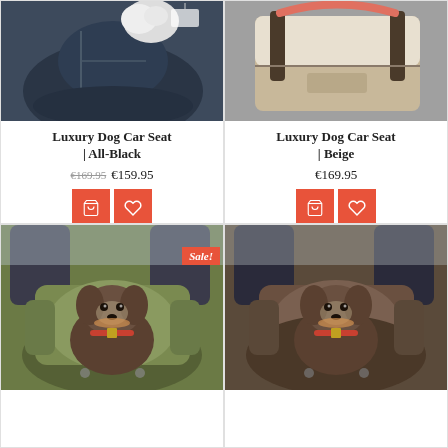[Figure (photo): Dog car seat product photo - All-Black version, dark navy color, dog visible inside]
Luxury Dog Car Seat | All-Black
€169.95 €159.95
[Figure (photo): Dog car seat product photo - Beige version, beige/coral colored bag with dark handles]
Luxury Dog Car Seat | Beige
€169.95
[Figure (photo): Dog car seat - olive/green color, small dog sitting inside, Sale badge in corner]
Sale!
[Figure (photo): Dog car seat - dark brown/chocolate color, same small dog sitting inside]